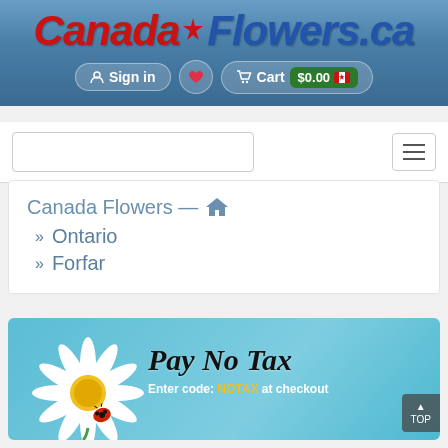[Figure (screenshot): CanadaFlowers.ca website header with logo, Sign in, heart, and Cart $0.00 with Canadian flag icon]
[Figure (screenshot): Search bar and hamburger menu button]
Canada Flowers — 🏠
» Ontario
» Forfar
[Figure (illustration): Pay No Tax banner with daisy flower and ladybug. Text: Pay No Tax. Enter code: NOTAX at checkout]